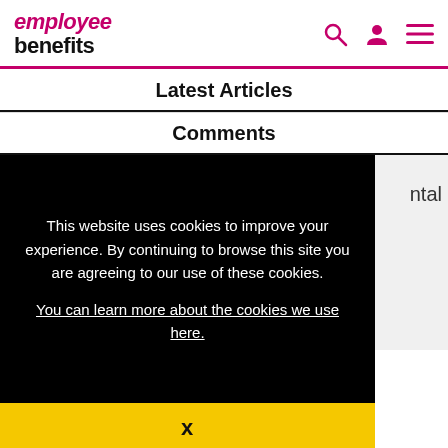employee benefits
Latest Articles
Comments
This website uses cookies to improve your experience. By continuing to browse this site you are agreeing to our use of these cookies.
You can learn more about the cookies we use here.
x
Kier Group introduces enhanced sick pay